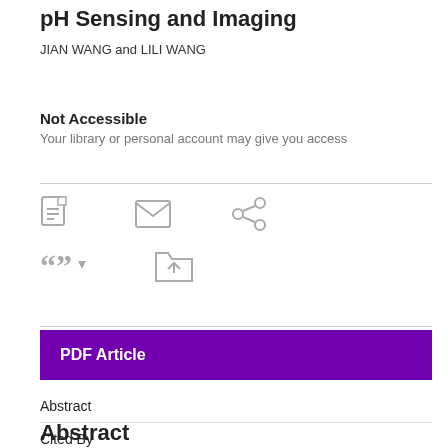pH Sensing and Imaging
JIAN WANG and LILI WANG
Not Accessible
Your library or personal account may give you access
[Figure (infographic): Row of action icons: PDF download, email, share, cite (with dropdown arrow), and save to folder]
PDF Article
Abstract
Cited By
Back to Top
Abstract